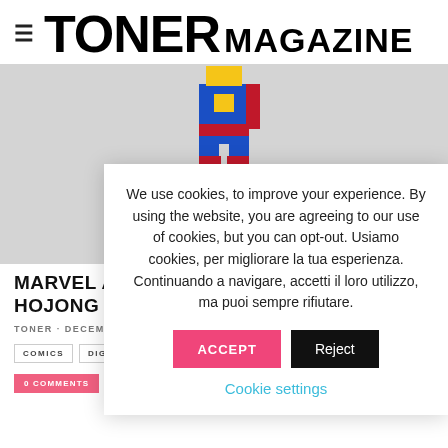TONER MAGAZINE
[Figure (screenshot): Website screenshot showing a pixelated superhero figure against a gray background, partially visible article about Marvel and Hojong, and a cookie consent overlay popup.]
MARVEL AND HOJONG
TONER · DECEMBER
COMICS  DIGITAL
0 COMMENTS
We use cookies, to improve your experience. By using the website, you are agreeing to our use of cookies, but you can opt-out. Usiamo cookies, per migliorare la tua esperienza. Continuando a navigare, accetti il loro utilizzo, ma puoi sempre rifiutare.
ACCEPT
Reject
Cookie settings